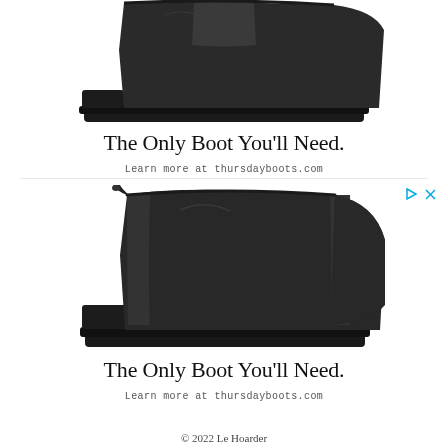[Figure (photo): Black leather ankle boot / Chelsea boot with lug sole, side profile view, cropped at ankle, white background]
The Only Boot You’ll Need.
Learn more at thursdayboots.com
[Figure (photo): Black leather Chelsea boot with elastic side panel, pull tab at back, lug sole, full boot visible, white background]
The Only Boot You’ll Need.
Learn more at thursdayboots.com
© 2022 Le Hoarder